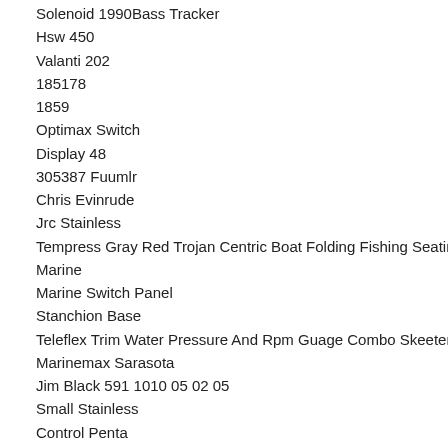Solenoid 1990Bass Tracker
Hsw 450
Valanti 202
185178
1859
Optimax Switch
Display 48
305387 Fuumlr
Chris Evinrude
Jrc Stainless
Tempress Gray Red Trojan Centric Boat Folding Fishing Seating Seat
Marine
Marine Switch Panel
Stanchion Base
Teleflex Trim Water Pressure And Rpm Guage Combo Skeeter
Marinemax Sarasota
Jim Black 591 1010 05 02 05
Small Stainless
Control Penta
Nautical Mile Freeport Ny
Stroke Boat
89 205 Sp Jump
Nautical Clocks